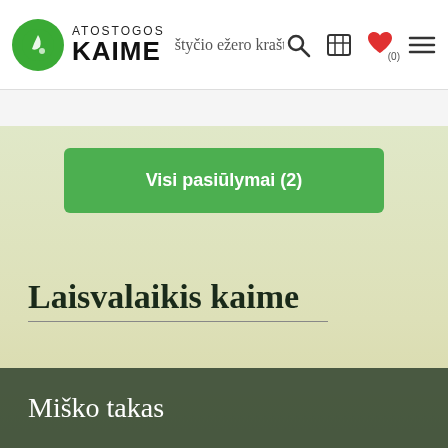Atostogos Kaime — štyčio ežero krašto
Visi pasiūlymai (2)
Laisvalaikis kaime
Miško takas